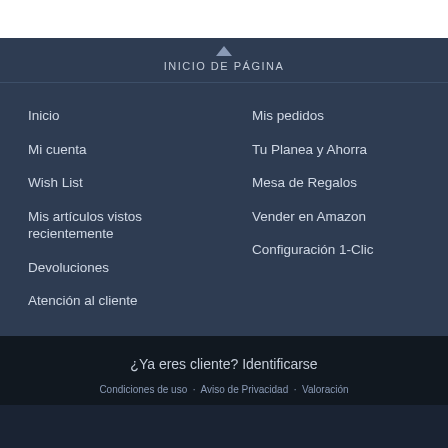INICIO DE PÁGINA
Inicio
Mis pedidos
Mi cuenta
Tu Planea y Ahorra
Wish List
Mesa de Regalos
Mis artículos vistos recientemente
Vender en Amazon
Configuración 1-Clic
Devoluciones
Atención al cliente
¿Ya eres cliente? Identificarse
Condiciones de uso · Aviso de Privacidad · Valoración